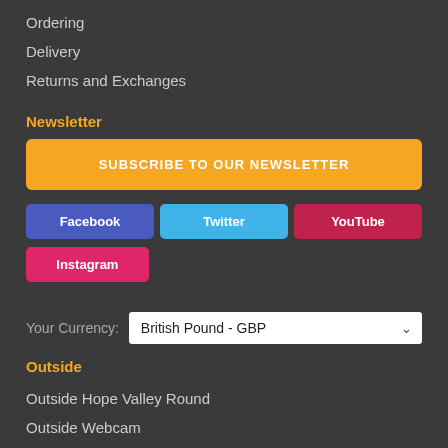Ordering
Delivery
Returns and Exchanges
Newsletter
SUBSCRIBE TO OUR NEWSLETTER
Facebook
Twitter
YouTube
Instagram
Your Currency: British Pound - GBP
Outside
Outside Hope Valley Round
Outside Webcam
About Us